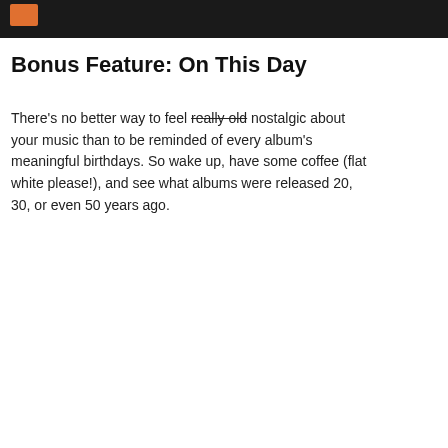[Figure (screenshot): Top partial image bar showing dark background with orange/red element partially visible]
Bonus Feature: On This Day
There's no better way to feel really old nostalgic about your music than to be reminded of every album's meaningful birthdays. So wake up, have some coffee (flat white please!), and see what albums were released 20, 30, or even 50 years ago.
[Figure (screenshot): ON THIS DAY card showing Tom Petty Heartbreakers album - 25 YEARS AGO, Tom Petty, She's the One: Songs and Mu..., 1996, star, 70%]